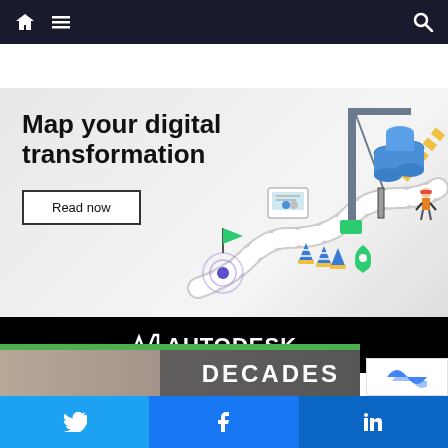Navigation bar with home, menu, and search icons
[Figure (infographic): Autodesk advertisement banner reading 'Map your digital transformation' with a 'Read now' button, featuring an isometric illustration of a construction crane, road, traffic cones, barrels, and a worker, with Autodesk logo on black bar at bottom]
[Figure (photo): Partially visible article preview image with 'DECADES' text overlay on dark background, appears to be a construction/industrial scene]
Twitter share button | Facebook share button | LinkedIn share button